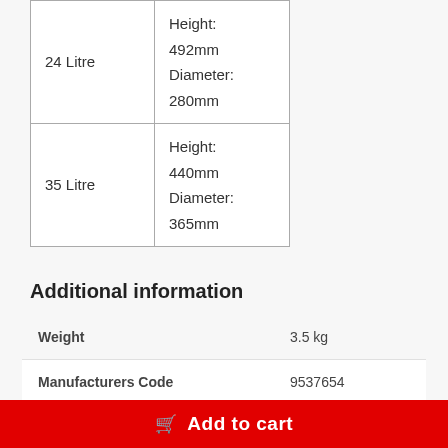| Size | Dimensions |
| --- | --- |
| 24 Litre | Height: 492mm
Diameter: 280mm |
| 35 Litre | Height: 440mm
Diameter: 365mm |
Additional information
| Attribute | Value |
| --- | --- |
| Weight | 3.5 kg |
| Manufacturers Code | 9537654 |
| Condition | new |
Add to cart